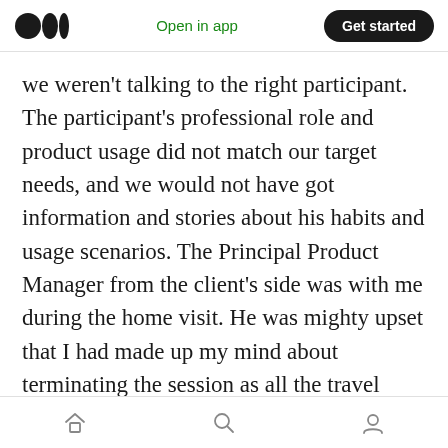Open in app | Get started
we weren't talking to the right participant. The participant's professional role and product usage did not match our target needs, and we would not have got information and stories about his habits and usage scenarios. The Principal Product Manager from the client's side was with me during the home visit. He was mighty upset that I had made up my mind about terminating the session as all the travel time and efforts put in were going down the drain. Additionally, he felt a sense of social obligation to use the participant's time because we had blocked it for
home | search | profile